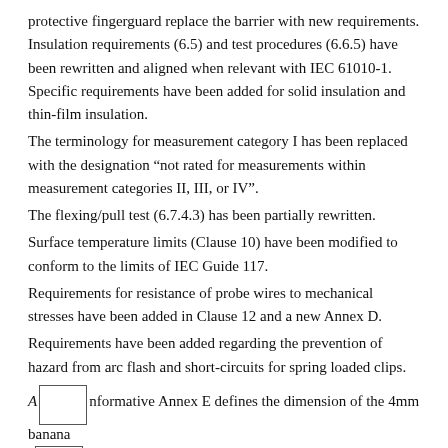protective fingerguard replace the barrier with new requirements. Insulation requirements (6.5) and test procedures (6.6.5) have been rewritten and aligned when relevant with IEC 61010-1. Specific requirements have been added for solid insulation and thin-film insulation.
The terminology for measurement category I has been replaced with the designation “not rated for measurements within measurement categories II, III, or IV”.
The flexing/pull test (6.7.4.3) has been partially rewritten.
Surface temperature limits (Clause 10) have been modified to conform to the limits of IEC Guide 117.
Requirements for resistance of probe wires to mechanical stresses have been added in Clause 12 and a new Annex D.
Requirements have been added regarding the prevention of hazard from arc flash and short-circuits for spring loaded clips.
A new informative Annex E defines the dimension of the 4mm banana connectors.